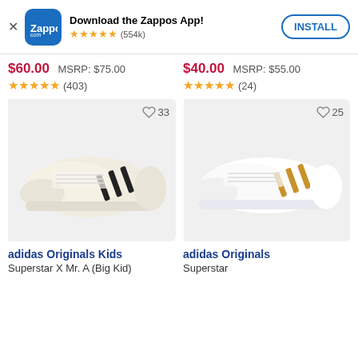[Figure (screenshot): Zappos app install banner with logo, star rating (554k reviews), and INSTALL button]
Download the Zappos App!
★★★★★ (554k)
INSTALL
$60.00  MSRP: $75.00
$40.00  MSRP: $55.00
★★★★★ (403)
★★★★★ (24)
[Figure (photo): adidas Originals Kids Superstar X Mr. A (Big Kid) sneaker - white with black stripes]
[Figure (photo): adidas Originals Superstar sneaker - white with gold/tan stripes]
adidas Originals Kids
Superstar X Mr. A (Big Kid)
adidas Originals
Superstar